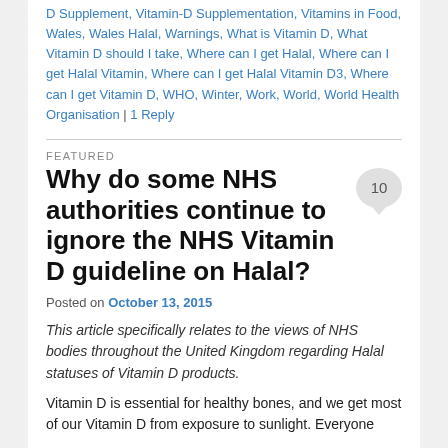D Supplement, Vitamin-D Supplementation, Vitamins in Food, Wales, Wales Halal, Warnings, What is Vitamin D, What Vitamin D should I take, Where can I get Halal, Where can I get Halal Vitamin, Where can I get Halal Vitamin D3, Where can I get Vitamin D, WHO, Winter, Work, World, World Health Organisation | 1 Reply
FEATURED
Why do some NHS authorities continue to ignore the NHS Vitamin D guideline on Halal?
Posted on October 13, 2015
This article specifically relates to the views of NHS bodies throughout the United Kingdom regarding Halal statuses of Vitamin D products.
Vitamin D is essential for healthy bones, and we get most of our Vitamin D from exposure to sunlight. Everyone